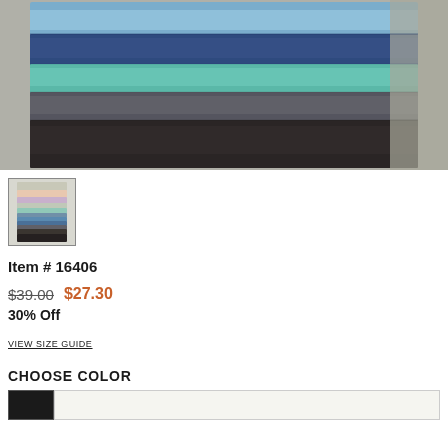[Figure (photo): Stack of folded t-shirts or fabric in multiple colors: light blue, navy, teal/mint, dark gray, and black, displayed on a stone/concrete surface]
[Figure (photo): Small thumbnail image showing folded garments in multiple colors stacked]
Item # 16406
$39.00  $27.30
30% Off
VIEW SIZE GUIDE
CHOOSE COLOR